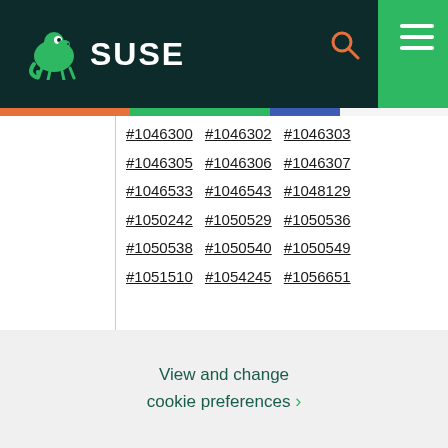[Figure (logo): SUSE logo with chameleon icon and navigation bar with search and menu icons on dark teal background]
|  | Bugs |
| --- | --- |
|  | #1046300 #1046302 #1046303 #1046305 #1046306 #1046307 #1046533 #1046543 #1048129 #1050242 #1050529 #1050536 #1050538 #1050540 #1050549 #1051510 #1054245 #1056651 |
How We Use Cookies
We use cookies to give you a better experience, improve performance and analyze traffic. By using our website you agree to our use of cookies.
View and change cookie preferences ›